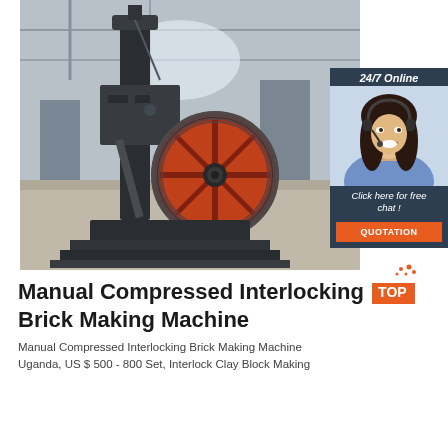[Figure (photo): Industrial brick-making machine (Manual Compressed Interlocking Brick Making Machine) in a factory warehouse setting. The machine is large, dark/black metallic with a prominent red flywheel on the right side. An inset customer service chat widget is overlaid on the right side showing a woman with a headset, '24/7 Online' text, 'Click here for free chat!' and an orange 'QUOTATION' button.]
Manual Compressed Interlocking Brick Making Machine
Manual Compressed Interlocking Brick Making Machine Uganda, US $ 500 - 800 Set, Interlock Clay Block Making